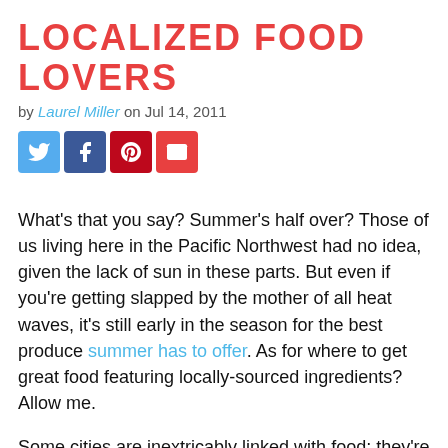LOCALIZED FOOD LOVERS
by Laurel Miller on Jul 14, 2011
[Figure (other): Social sharing buttons: Twitter, Facebook, Pinterest, Email]
What's that you say? Summer's half over? Those of us living here in the Pacific Northwest had no idea, given the lack of sun in these parts. But even if you're getting slapped by the mother of all heat waves, it's still early in the season for the best produce summer has to offer. As for where to get great food featuring locally-sourced ingredients? Allow me.
Some cities are inextricably linked with food; they're destinations unto themselves if you're the type who plans trips around meals. I do. Museums are great and all, but personally, I'd rather eat.
As a longtime proponent of sustainable agriculture, I want to support local growers as well as get a sense of place when I